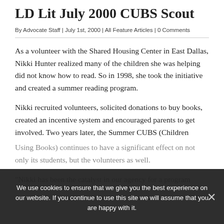LD Lit July 2000 CUBS Scout
By Advocate Staff | July 1st, 2000 | All Feature Articles | 0 Comments
As a volunteer with the Shared Housing Center in East Dallas, Nikki Hunter realized many of the children she was helping did not know how to read. So in 1998, she took the initiative and created a summer reading program.
Nikki recruited volunteers, solicited donations to buy books, created an incentive system and encouraged parents to get involved. Two years later, the Summer CUBS (Children Using Books) continues to have a significant effect on not only its students, but the volunteers as well.
"Nikki has been the catalyst in our agency for a program
We use cookies to ensure that we give you the best experience on our website. If you continue to use this site we will assume that you are happy with it.